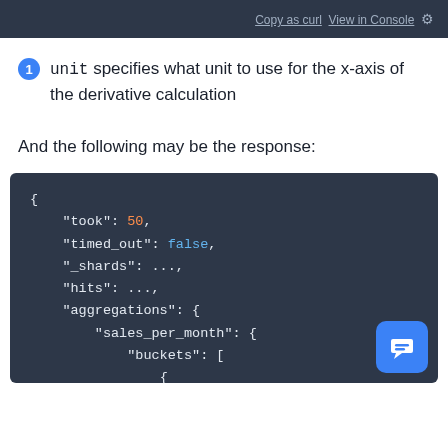Copy as curl  View in Console
unit specifies what unit to use for the x-axis of the derivative calculation
And the following may be the response:
[Figure (screenshot): Dark-themed code block showing a JSON response object with fields: took: 50, timed_out: false, _shards: ..., hits: ..., aggregations: { sales_per_month: { buckets: [ {]